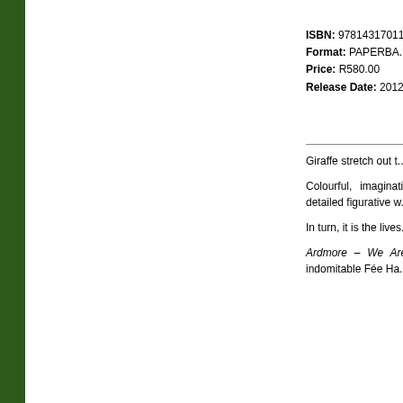ISBN: 9781431701... Format: PAPERBA... Price: R580.00 Release Date: 2012...
Giraffe stretch out t... Inquisitive monkeys... cloaks of flowers, sp...
Colourful, imaginati... have garnered inte... Africa's most succe... detailed figurative w... and folklore, history,...
In turn, it is the lives... Halsted is an artist ... path of creative self-...
Ardmore – We Are... beginnings in a po... objets d'art prized ... indomitable Fée Ha... fearless creativity ar...